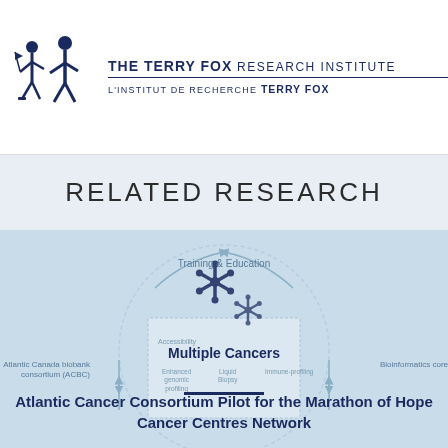[Figure (logo): The Terry Fox Research Institute logo with running figures and bilingual text]
RELATED RESEARCH
[Figure (infographic): Circular research diagram showing Multiple Cancers hub with surrounding labels: Training & Education, Accessibility, Atlantic Canada biobank consortium (ACBC), Bioinformatics core, Enhanced genomic profiling, Liquid Biopsy, Immune-profiling]
Atlantic Cancer Consortium Pilot for the Marathon of Hope Cancer Centres Network